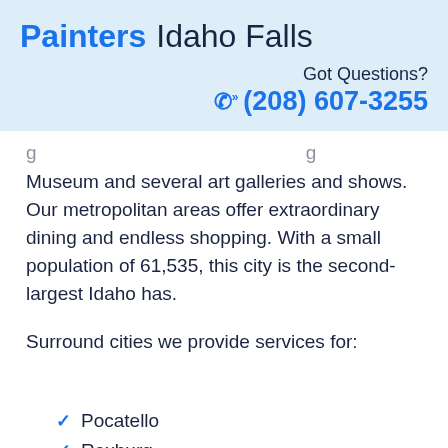Painters Idaho Falls
Got Questions?
☎ (208) 607-3255
Museum and several art galleries and shows. Our metropolitan areas offer extraordinary dining and endless shopping. With a small population of 61,535, this city is the second-largest Idaho has.
Surround cities we provide services for:
Pocatello
Rexburg